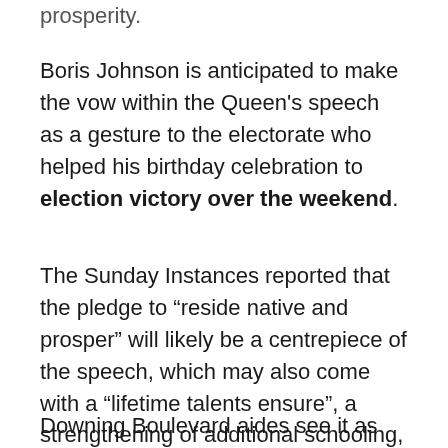prosperity.
Boris Johnson is anticipated to make the vow within the Queen's speech as a gesture to the electorate who helped his birthday celebration to election victory over the weekend.
The Sunday Instances reported that the pledge to “reside native and prosper” will likely be a centrepiece of the speech, which may also come with a “lifetime talents ensure”, a strengthening of additional schooling, and an grownup schooling and coaching device this is “are compatible for the long run”.
Downing Boulevard aides see it as some way of…